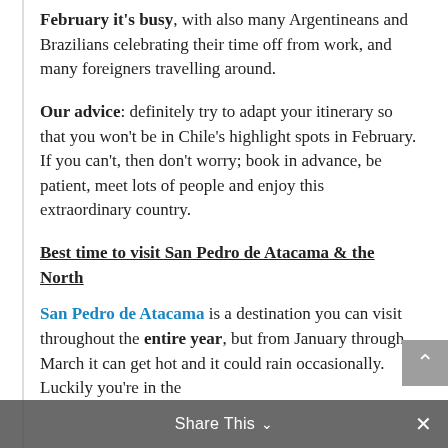February it's busy, with also many Argentineans and Brazilians celebrating their time off from work, and many foreigners travelling around.
Our advice: definitely try to adapt your itinerary so that you won't be in Chile's highlight spots in February. If you can't, then don't worry; book in advance, be patient, meet lots of people and enjoy this extraordinary country.
Best time to visit San Pedro de Atacama & the North
San Pedro de Atacama is a destination you can visit throughout the entire year, but from January through March it can get hot and it could rain occasionally. Luckily you're in the
Share This